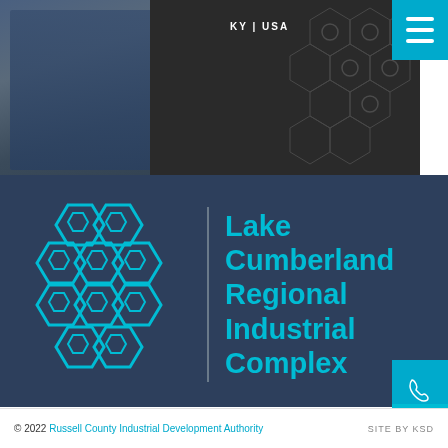[Figure (photo): Top banner photo showing a worker in blue uniform handling industrial bins/crates, with a dark hexagonal pattern background and KY/USA text overlay in top right]
[Figure (logo): Lake Cumberland Regional Industrial Complex logo: cyan/turquoise hexagon cluster pattern on dark navy background, with vertical divider line and bold cyan text reading Lake Cumberland Regional Industrial Complex]
Lake Cumberland Regional Industrial Complex
© 2022 Russell County Industrial Development Authority    SITE BY KSD